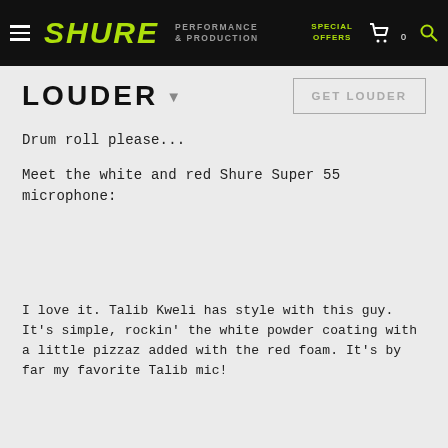SHURE  PERFORMANCE & PRODUCTION  SPECIAL OFFERS  0
LOUDER
GET LOUDER
Drum roll please...
Meet the white and red Shure Super 55 microphone:
[Figure (photo): Empty image placeholder area for white and red Shure Super 55 microphone]
I love it. Talib Kweli has style with this guy. It's simple, rockin' the white powder coating with a little pizzaz added with the red foam. It's by far my favorite Talib mic!